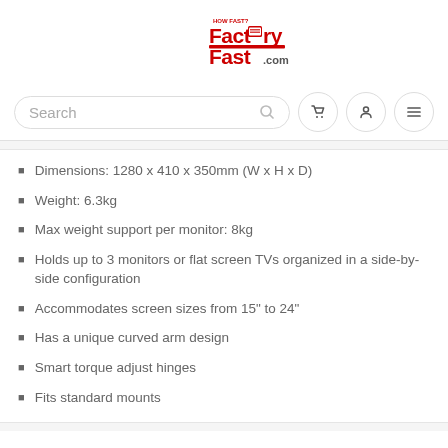[Figure (logo): FactoryFast.com.au logo with red text and shopping cart icon]
[Figure (screenshot): Search bar with magnifying glass icon, and three icon buttons: cart, user, and menu]
Dimensions: 1280 x 410 x 350mm (W x H x D)
Weight: 6.3kg
Max weight support per monitor: 8kg
Holds up to 3 monitors or flat screen TVs organized in a side-by-side configuration
Accommodates screen sizes from 15" to 24"
Has a unique curved arm design
Smart torque adjust hinges
Fits standard mounts
816873